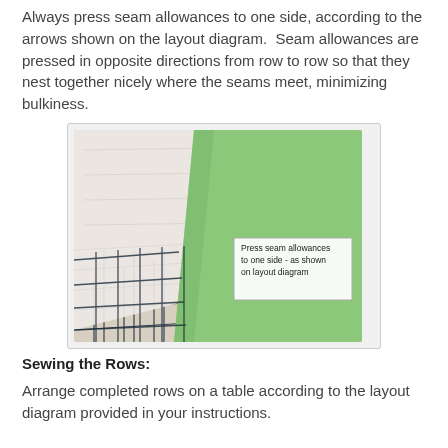Always press seam allowances to one side, according to the arrows shown on the layout diagram.  Seam allowances are pressed in opposite directions from row to row so that they nest together nicely where the seams meet, minimizing bulkiness.
[Figure (photo): Photo showing fabric pieces on a cutting mat with a green fabric square and a text label overlay reading: Press seam allowances to one side - as shown on layout diagram]
Sewing the Rows:
Arrange completed rows on a table according to the layout diagram provided in your instructions.